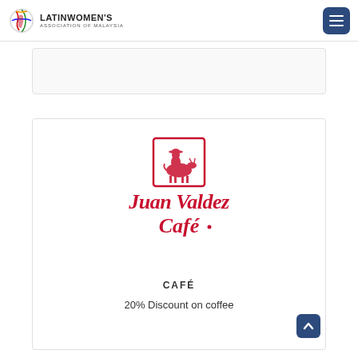LATIN WOMEN'S ASSOCIATION OF MALAYSIA
[Figure (logo): Juan Valdez Café logo — red script text with illustrated figure of a farmer and mule in a square border]
CAFÉ
20% Discount on coffee